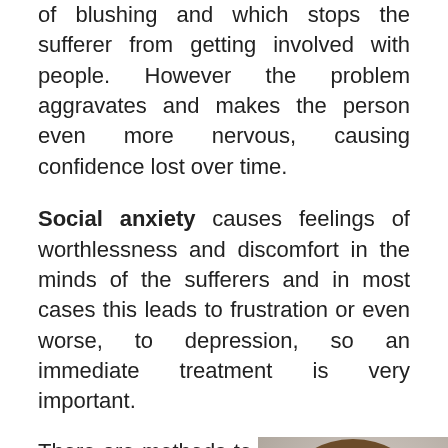of blushing and which stops the sufferer from getting involved with people. However the problem aggravates and makes the person even more nervous, causing confidence lost over time.
Social anxiety causes feelings of worthlessness and discomfort in the minds of the sufferers and in most cases this leads to frustration or even worse, to depression, so an immediate treatment is very important.
There are methods to get rid of social anxiety and facial blushing and it is necessary to follow some indications and treatments.
[Figure (photo): A person biting their nails, appearing anxious, against a gray background]